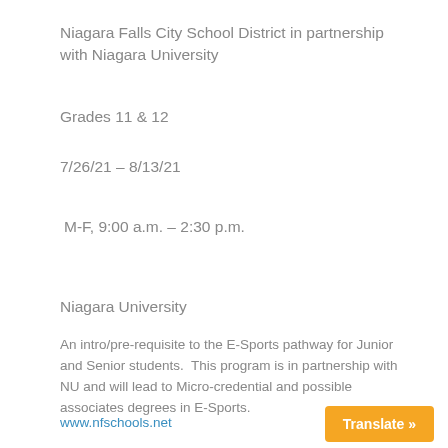Niagara Falls City School District in partnership with Niagara University
Grades 11 & 12
7/26/21 – 8/13/21
M-F, 9:00 a.m. – 2:30 p.m.
Niagara University
An intro/pre-requisite to the E-Sports pathway for Junior and Senior students.  This program is in partnership with NU and will lead to Micro-credential and possible associates degrees in E-Sports.
www.nfschools.net